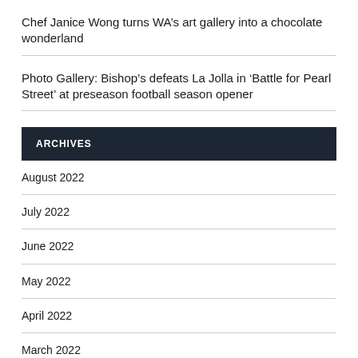Chef Janice Wong turns WA's art gallery into a chocolate wonderland
Photo Gallery: Bishop's defeats La Jolla in 'Battle for Pearl Street' at preseason football season opener
ARCHIVES
August 2022
July 2022
June 2022
May 2022
April 2022
March 2022
February 2022